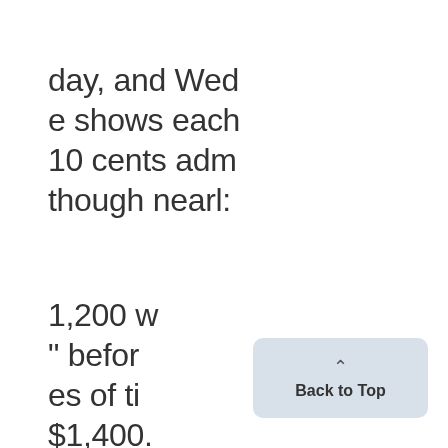day, and Wed
e shows each
10 cents adm
though nearl:
1,200 w
" befor
es of ti
$1,400.
the pu
coats,v
that t2
will co
Back to Top